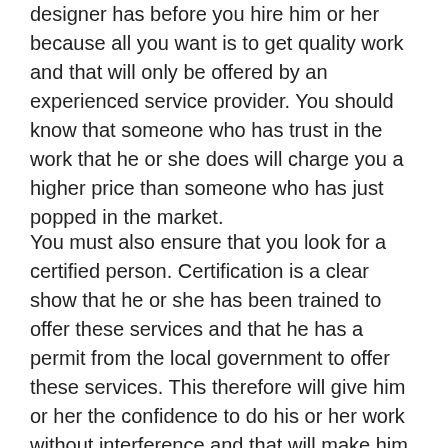designer has before you hire him or her because all you want is to get quality work and that will only be offered by an experienced service provider. You should know that someone who has trust in the work that he or she does will charge you a higher price than someone who has just popped in the market.
You must also ensure that you look for a certified person. Certification is a clear show that he or she has been trained to offer these services and that he has a permit from the local government to offer these services. This therefore will give him or her the confidence to do his or her work without interference and that will make him or her offer quality services. You must also know where the person was trained because not everyone will show you a genuine certificate for some people who are working with fake certificates so you must